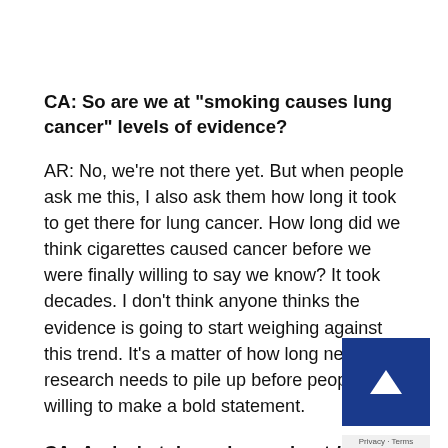CA: So are we at “smoking causes lung cancer” levels of evidence?
AR: No, we’re not there yet. But when people ask me this, I also ask them how long it took to get there for lung cancer. How long did we think cigarettes caused cancer before we were finally willing to say we know? It took decades. I don’t think anyone thinks the evidence is going to start weighing against this trend. It’s a matter of how long new research needs to pile up before people are willing to make a bold statement.
CA: And what do we know about how pollution might contribute to dementia?
AR: There are a couple ways we think it works. One is by